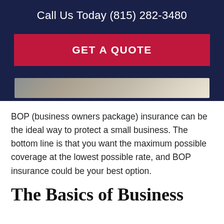Call Us Today (815) 282-3480
GET A QUOTE
[Figure (photo): Partial view of a desk or office scene, photo strip]
BOP (business owners package) insurance can be the ideal way to protect a small business. The bottom line is that you want the maximum possible coverage at the lowest possible rate, and BOP insurance could be your best option.
The Basics of Business